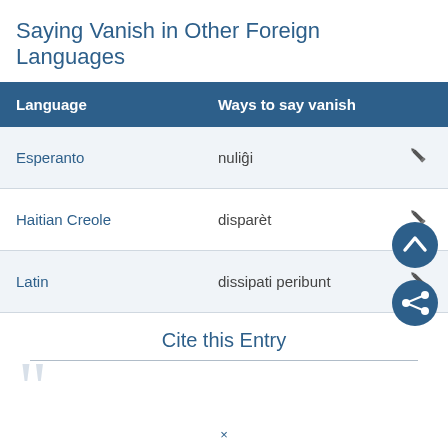Saying Vanish in Other Foreign Languages
| Language | Ways to say vanish |
| --- | --- |
| Esperanto | nuliĝi |
| Haitian Creole | disparèt |
| Latin | dissipati peribunt |
Cite this Entry